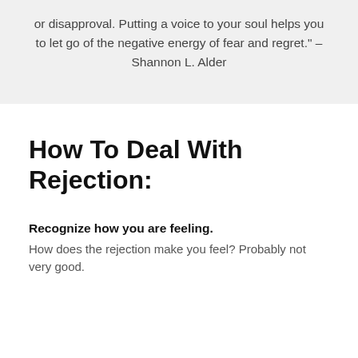or disapproval. Putting a voice to your soul helps you to let go of the negative energy of fear and regret." – Shannon L. Alder
How To Deal With Rejection:
Recognize how you are feeling.
How does the rejection make you feel? Probably not very good.